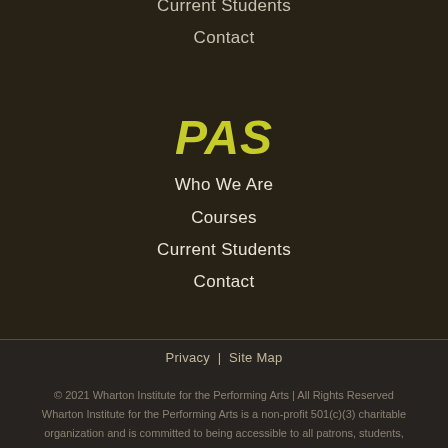Current Students
Contact
PAS
Who We Are
Courses
Current Students
Contact
Privacy  |  Site Map
© 2021 Wharton Institute for the Performing Arts | All Rights Reserved Wharton Institute for the Performing Arts is a non-profit 501(c)(3) charitable organization and is committed to being accessible to all patrons, students,